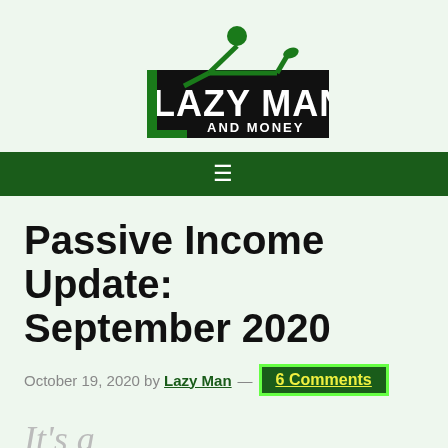[Figure (logo): Lazy Man and Money logo — a green stick figure reclining on top of bold black text reading LAZY MAN AND MONEY]
≡
Passive Income Update: September 2020
October 19, 2020 by Lazy Man — 6 Comments
It's a little